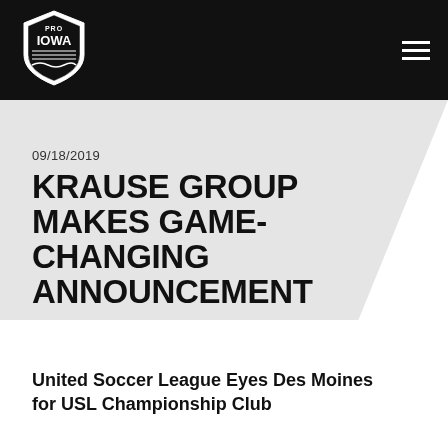[Figure (logo): Pro Iowa shield logo in black and white]
09/18/2019
KRAUSE GROUP MAKES GAME-CHANGING ANNOUNCEMENT
United Soccer League Eyes Des Moines for USL Championship Club